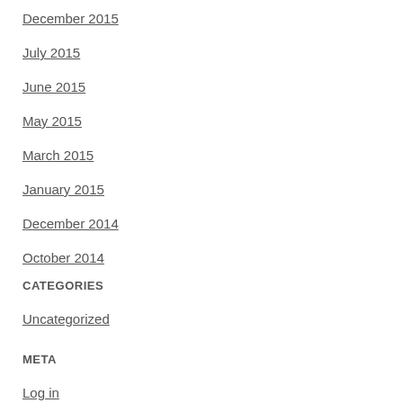December 2015
July 2015
June 2015
May 2015
March 2015
January 2015
December 2014
October 2014
CATEGORIES
Uncategorized
META
Log in
Entries RSS